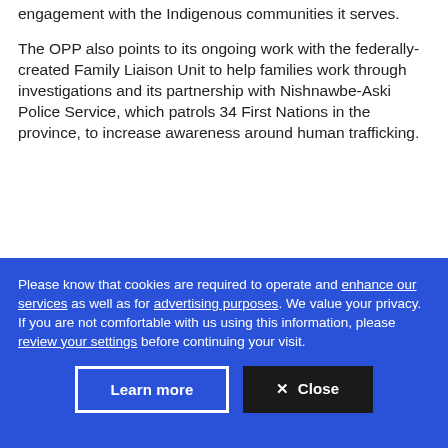engagement with the Indigenous communities it serves.
The OPP also points to its ongoing work with the federally-created Family Liaison Unit to help families work through investigations and its partnership with Nishnawbe-Aski Police Service, which patrols 34 First Nations in the province, to increase awareness around human trafficking.
Please know that cookies are required to operate and enhance our services as well as for advertising purposes. We value your privacy. If you are not comfortable with us using this information, please review your settings before continuing your visit.